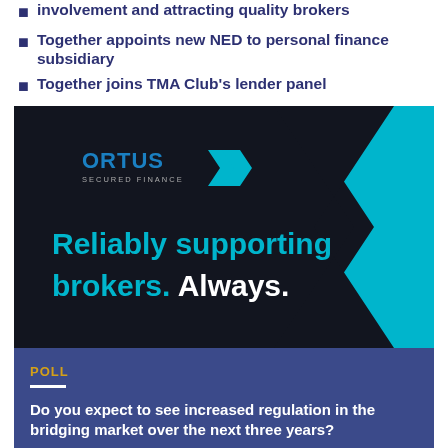involvement and attracting quality brokers
Together appoints new NED to personal finance subsidiary
Together joins TMA Club's lender panel
[Figure (illustration): Ortus Secured Finance advertisement banner on dark navy/black background with cyan right-pointing arrow chevron shape. Logo reads 'ORTUS SECURED FINANCE' with cyan double-chevron arrow. Large cyan and white text reads 'Reliably supporting brokers. Always.']
POLL
Do you expect to see increased regulation in the bridging market over the next three years?